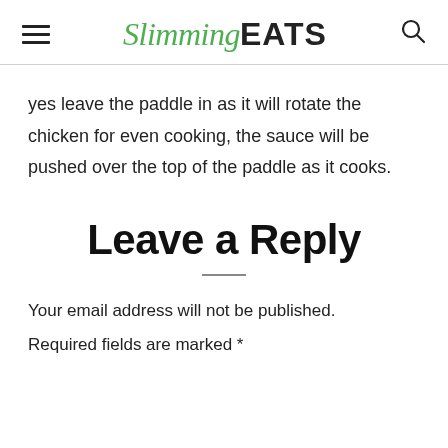Slimming EATS
yes leave the paddle in as it will rotate the chicken for even cooking, the sauce will be pushed over the top of the paddle as it cooks.
Leave a Reply
Your email address will not be published.
Required fields are marked *